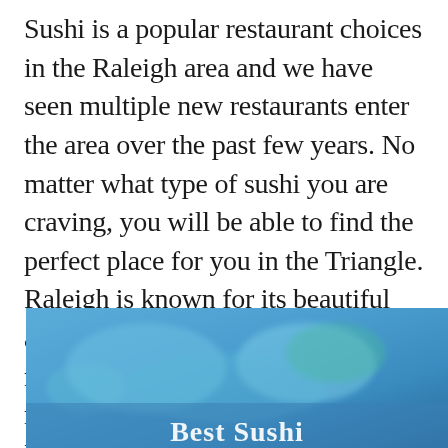Sushi is a popular restaurant choices in the Raleigh area and we have seen multiple new restaurants enter the area over the past few years. No matter what type of sushi you are craving, you will be able to find the perfect place for you in the Triangle. Raleigh is known for its beautiful array of diverse restaurants and has many award winning sushi restaurants. Sushi is so popular in Raleigh that is got featured on our Best Restaurants in Raleigh article!
[Figure (photo): A blurred blue-toned photo of sushi with white text 'Best Sushi' partially visible at the bottom.]